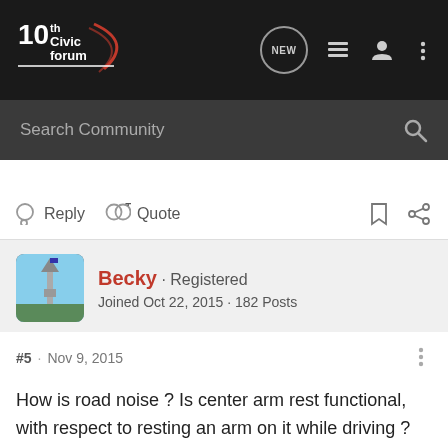10th Civic Forum
Search Community
Reply  Quote
Becky · Registered
Joined Oct 22, 2015 · 182 Posts
#5 · Nov 9, 2015
How is road noise ? Is center arm rest functional, with respect to resting an arm on it while driving ?